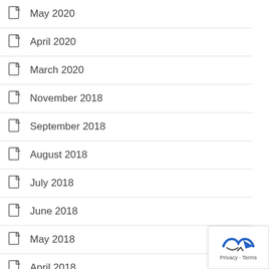May 2020
April 2020
March 2020
November 2018
September 2018
August 2018
July 2018
June 2018
May 2018
April 2018
March 2018